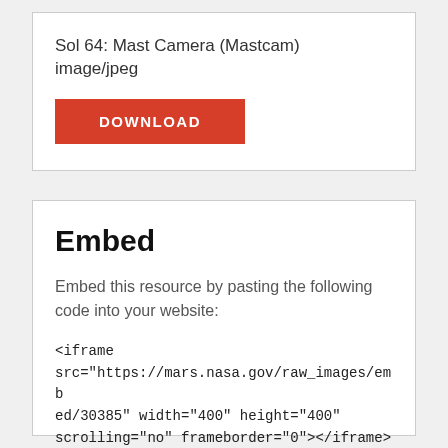Sol 64: Mast Camera (Mastcam)
image/jpeg
DOWNLOAD
Embed
Embed this resource by pasting the following code into your website:
<iframe src="https://mars.nasa.gov/raw_images/embed/30385" width="400" height="400" scrolling="no" frameborder="0"></iframe>